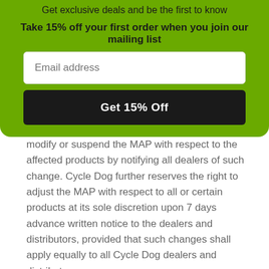Get exclusive deals and be the first to know
Take 15% off your first order when you join our mailing list
Email address
Get 15% Off
modify or suspend the MAP with respect to the affected products by notifying all dealers of such change. Cycle Dog further reserves the right to adjust the MAP with respect to all or certain products at its sole discretion upon 7 days advance written notice to the dealers and distributors, provided that such changes shall apply equally to all Cycle Dog dealers and distributors.
Intentional and/or repeated failure to abide